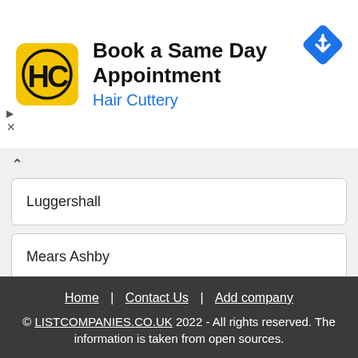[Figure (illustration): Hair Cuttery advertisement banner with yellow HC logo, text 'Book a Same Day Appointment' and 'Hair Cuttery' in blue, and a blue navigation/directions icon on the right]
Luggershall
Mears Ashby
Newton heath
Ordsall
Home | Contact Us | Add company
© LISTCOMPANIES.CO.UK 2022 - All rights reserved. The information is taken from open sources.